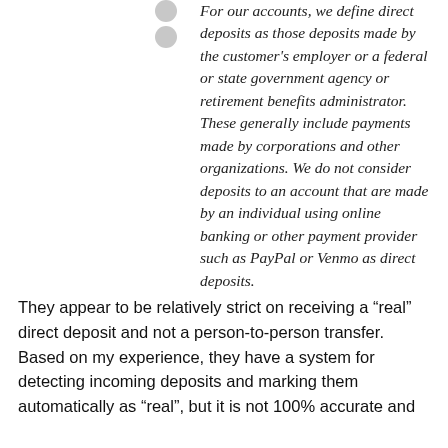For our accounts, we define direct deposits as those deposits made by the customer's employer or a federal or state government agency or retirement benefits administrator. These generally include payments made by corporations and other organizations. We do not consider deposits to an account that are made by an individual using online banking or other payment provider such as PayPal or Venmo as direct deposits.
They appear to be relatively strict on receiving a “real” direct deposit and not a person-to-person transfer. Based on my experience, they have a system for detecting incoming deposits and marking them automatically as “real”, but it is not 100% accurate and